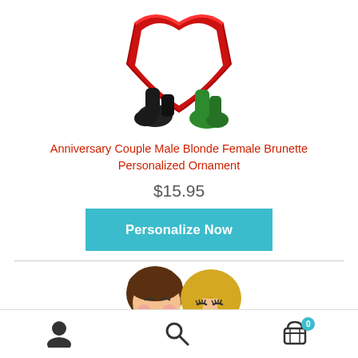[Figure (photo): Top portion of ornament showing two clay figurine feet/bottom half holding a red heart shape, viewed from below against white background]
Anniversary Couple Male Blonde Female Brunette Personalized Ornament
$15.95
Personalize Now
[Figure (photo): Clay couple ornament figurines: male with brown hair in green sweater and female with blonde hair in red/green outfit, smiling and cuddling]
Account | Search | Cart (0)